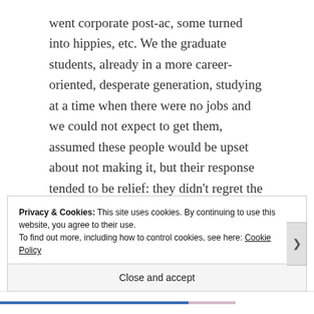went corporate post-ac, some turned into hippies, etc. We the graduate students, already in a more career-oriented, desperate generation, studying at a time when there were no jobs and we could not expect to get them, assumed these people would be upset about not making it, but their response tended to be relief: they didn't regret the degree and the experience, but were also just as happy to move onto the next thing. You could of course be that
Privacy & Cookies: This site uses cookies. By continuing to use this website, you agree to their use.
To find out more, including how to control cookies, see here: Cookie Policy
Close and accept